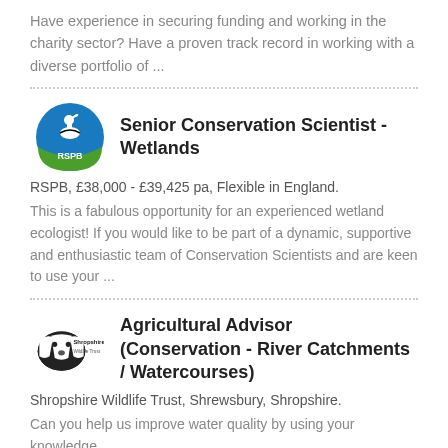Have experience in securing funding and working in the charity sector? Have a proven track record in working with a diverse portfolio of ...
Senior Conservation Scientist - Wetlands
RSPB, £38,000 - £39,425 pa, Flexible in England.
This is a fabulous opportunity for an experienced wetland ecologist! If you would like to be part of a dynamic, supportive and enthusiastic team of Conservation Scientists and are keen to use your ...
Agricultural Advisor (Conservation - River Catchments / Watercourses)
Shropshire Wildlife Trust, Shrewsbury, Shropshire.
Can you help us improve water quality by using your knowledge